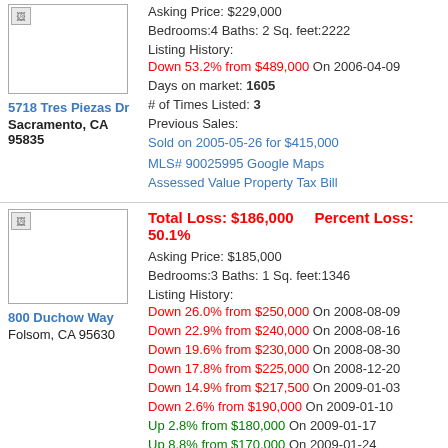[Figure (photo): Property photo placeholder (broken image) for 5718 Tres Piezas Dr]
5718 Tres Piezas Dr
Sacramento, CA 95835
Asking Price: $229,000
Bedrooms:4 Baths: 2 Sq. feet:2222
Listing History: Down 53.2% from $489,000 On 2006-04-09
Days on market: 1605
# of Times Listed: 3
Previous Sales: Sold on 2005-05-26 for $415,000
MLS# 90025995 Google Maps
Assessed Value Property Tax Bill
[Figure (photo): Property photo placeholder (broken image) for 800 Duchow Way]
Total Loss: $186,000    Percent Loss: 50.1%
Asking Price: $185,000
Bedrooms:3 Baths: 1 Sq. feet:1346
Listing History: Down 26.0% from $250,000 On 2008-08-09 / Down 22.9% from $240,000 On 2008-08-16 / Down 19.6% from $230,000 On 2008-08-30 / Down 17.8% from $225,000 On 2008-12-20 / Down 14.9% from $217,500 On 2009-01-03 / Down 2.6% from $190,000 On 2009-01-10 / Up 2.8% from $180,000 On 2009-01-17 / Up 8.8% from $170,000 On 2009-01-24 / Up 15.6% from $160,000 On 2009-01-31
800 Duchow Way
Folsom, CA 95630
Days on market: 802